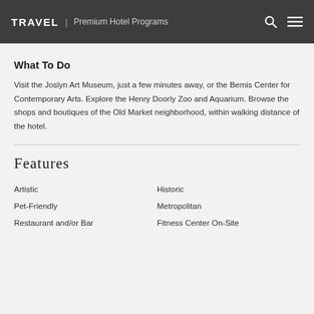TRAVEL | Premium Hotel Programs
What To Do
Visit the Joslyn Art Museum, just a few minutes away, or the Bemis Center for Contemporary Arts. Explore the Henry Doorly Zoo and Aquarium. Browse the shops and boutiques of the Old Market neighborhood, within walking distance of the hotel.
Features
Artistic
Historic
Pet-Friendly
Metropolitan
Restaurant and/or Bar
Fitness Center On-Site